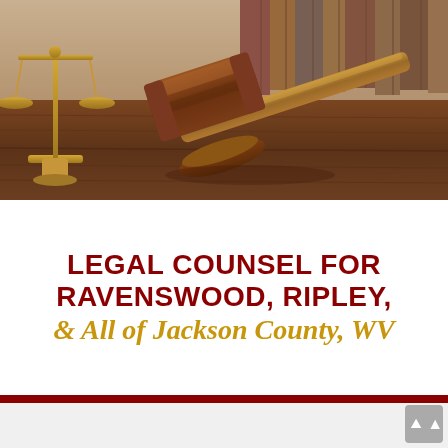[Figure (photo): A judge's gavel resting on a wooden surface with a brass scales of justice in the background along with blurred law books. Warm brown wooden tones dominate the image.]
LEGAL COUNSEL FOR RAVENSWOOD, RIPLEY, & All of Jackson County, WV